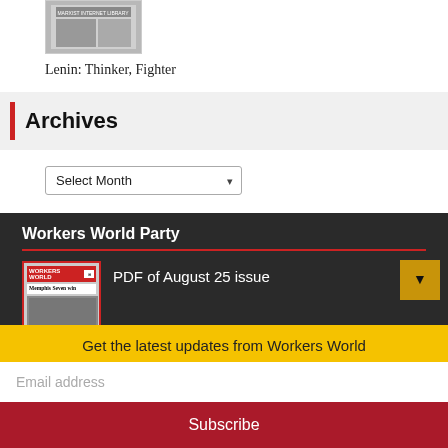[Figure (photo): Small thumbnail of a book cover from the Marxist Internet Library]
Lenin: Thinker, Fighter
Archives
Select Month (dropdown)
Workers World Party
[Figure (photo): Thumbnail of Workers World newspaper front page with 'Memphis Seven win' headline]
PDF of August 25 issue
Get the latest updates from Workers World
Email address
Subscribe